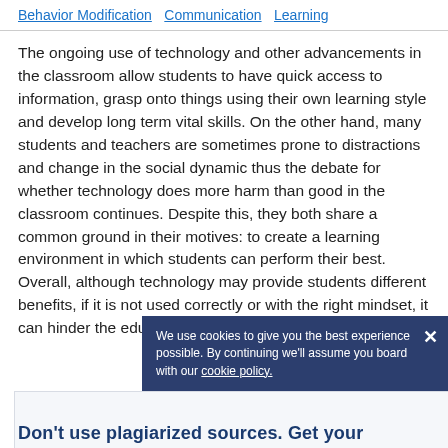Behavior Modification   Communication   Learning
The ongoing use of technology and other advancements in the classroom allow students to have quick access to information, grasp onto things using their own learning style and develop long term vital skills. On the other hand, many students and teachers are sometimes prone to distractions and change in the social dynamic thus the debate for whether technology does more harm than good in the classroom continues. Despite this, they both share a common ground in their motives: to create a learning environment in which students can perform their best. Overall, although technology may provide students different benefits, if it is not used correctly or with the right mindset, it can hinder the education system.
We use cookies to give you the best experience possible. By continuing we'll assume you board with our cookie policy.
Don't use plagiarized sources. Get your